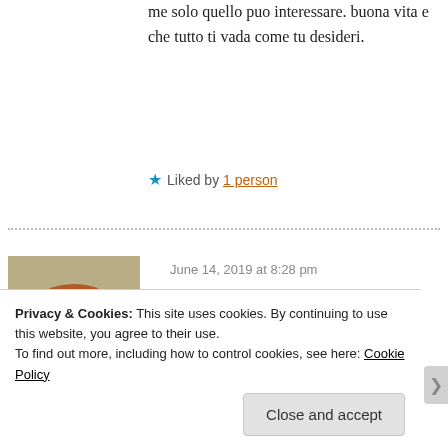me solo quello puo interessare. buona vita e che tutto ti vada come tu desideri.
★ Liked by 1 person
June 14, 2019 at 8:28 pm
[Figure (photo): Avatar photo of a woman with short red/auburn hair and glasses, viewed from the side, outdoors background]
★ justcallmetaco
Grazie, grazie! Ti auguro una buona vita ♥ ✌
★ Like
Privacy & Cookies: This site uses cookies. By continuing to use this website, you agree to their use.
To find out more, including how to control cookies, see here: Cookie Policy
Close and accept